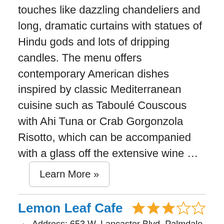touches like dazzling chandeliers and long, dramatic curtains with statues of Hindu gods and lots of dripping candles. The menu offers contemporary American dishes inspired by classic Mediterranean cuisine such as Taboulé Couscous with Ahi Tuna or Crab Gorgonzola Risotto, which can be accompanied with a glass off the extensive wine … Learn More »
Lemon Leaf Cafe
Address: 653 W. Lancaster Blvd, Palmdale, CA  93534
+ Make a Reservation
[Figure (photo): Food photo showing what appears to be dumplings or pasta with red tomato sauce]
$$ The Lemon